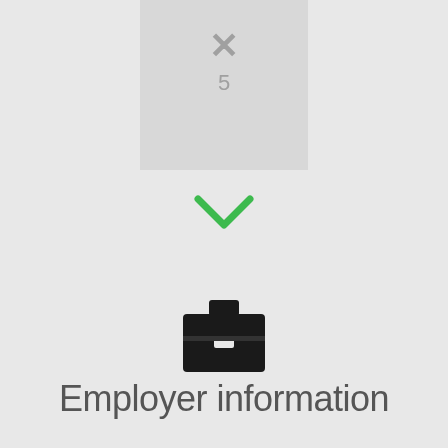[Figure (screenshot): A UI card element showing a grey box with an X icon and number 5, a green checkmark chevron below it, a briefcase icon, and the label 'Employer information']
Employer information